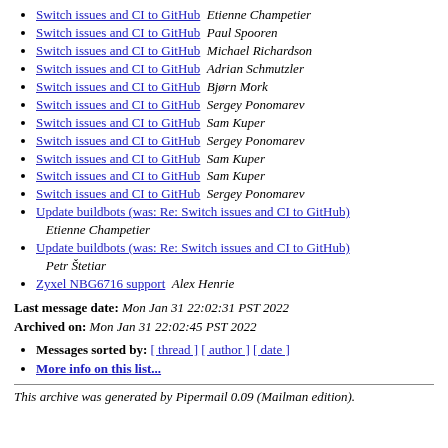Switch issues and CI to GitHub  Etienne Champetier
Switch issues and CI to GitHub  Paul Spooren
Switch issues and CI to GitHub  Michael Richardson
Switch issues and CI to GitHub  Adrian Schmutzler
Switch issues and CI to GitHub  Bjørn Mork
Switch issues and CI to GitHub  Sergey Ponomarev
Switch issues and CI to GitHub  Sam Kuper
Switch issues and CI to GitHub  Sergey Ponomarev
Switch issues and CI to GitHub  Sam Kuper
Switch issues and CI to GitHub  Sam Kuper
Switch issues and CI to GitHub  Sergey Ponomarev
Update buildbots (was: Re: Switch issues and CI to GitHub)  Etienne Champetier
Update buildbots (was: Re: Switch issues and CI to GitHub)  Petr Štetiar
Zyxel NBG6716 support  Alex Henrie
Last message date: Mon Jan 31 22:02:31 PST 2022
Archived on: Mon Jan 31 22:02:45 PST 2022
Messages sorted by: [ thread ] [ author ] [ date ]
More info on this list...
This archive was generated by Pipermail 0.09 (Mailman edition).